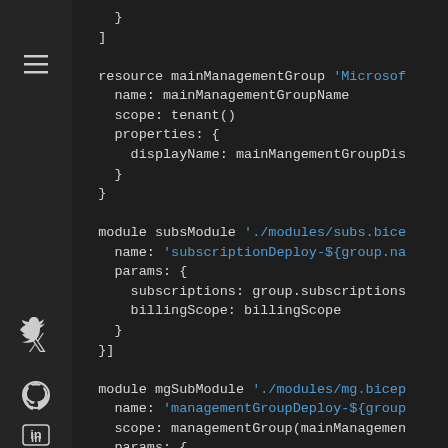[Figure (screenshot): Dark-themed code editor sidebar with hamburger menu icon, Twitter, GitHub, and LinkedIn icons]
}
  ]

  resource mainManagementGroup 'Microsoft...
    name: mainManagementGroupName
    scope: tenant()
    properties: {
      displayName: mainMangementGroupDis...
    }
  }

  module subsModule './modules/subs.bice...
    name: 'subscriptionDeploy-${group.na...
    params: {
      subscriptions: group.subscriptions...
      billingScope: billingScope
    }
  }]

  module mgSubModule './modules/mg.bicep...
    name: 'managementGroupDeploy-${group...
    scope: managementGroup(mainManagemen...
    params: {
      groupName: group.name
      groupDisplayName: group.displayNam...
      parentId: mainManagementGroup.id...